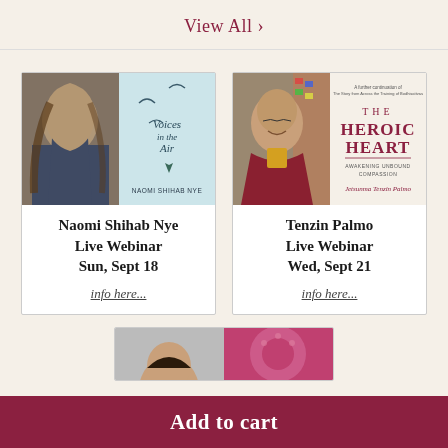View All ›
[Figure (photo): Card for Naomi Shihab Nye Live Webinar featuring author photo and book cover 'Voices in the Air' by Naomi Shihab Nye, Sun, Sept 18, info here...]
[Figure (photo): Card for Tenzin Palmo Live Webinar featuring author photo and book cover 'The Heroic Heart: Awakening Unbound Compassion' by Jetsunma Tenzin Palmo, Wed, Sept 21, info here...]
[Figure (photo): Partially visible third webinar card at the bottom of the page]
Add to cart